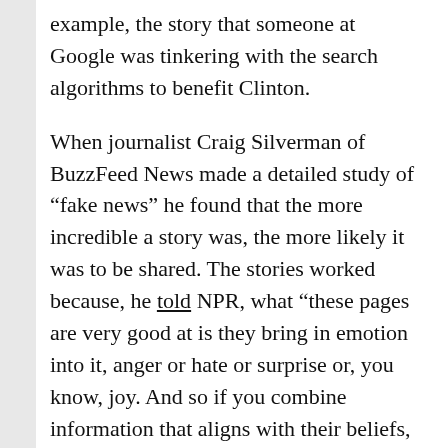example, the story that someone at Google was tinkering with the search algorithms to benefit Clinton.
When journalist Craig Silverman of BuzzFeed News made a detailed study of “fake news” he found that the more incredible a story was, the more likely it was to be shared. The stories worked because, he told NPR, what “these pages are very good at is they bring in emotion into it, anger or hate or surprise or, you know, joy. And so if you combine information that aligns with their beliefs, if you can make it something that strikes an emotion in them, then that gets them to react.”